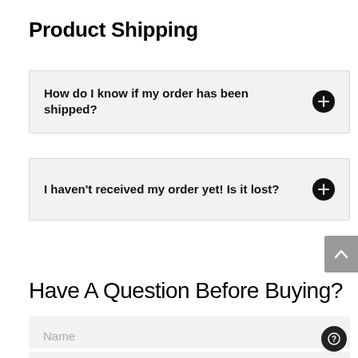Product Shipping
How do I know if my order has been shipped?
I haven't received my order yet! Is it lost?
Have A Question Before Buying?
Name
Email Address